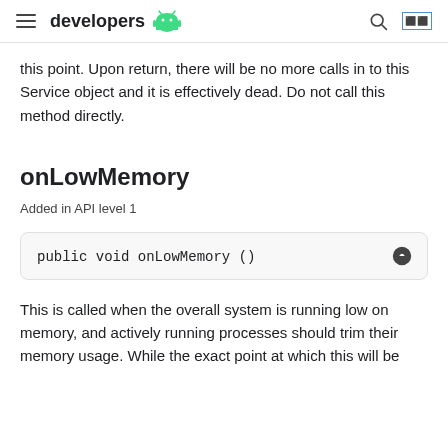developers
this point. Upon return, there will be no more calls in to this Service object and it is effectively dead. Do not call this method directly.
onLowMemory
Added in API level 1
public void onLowMemory ()
This is called when the overall system is running low on memory, and actively running processes should trim their memory usage. While the exact point at which this will be